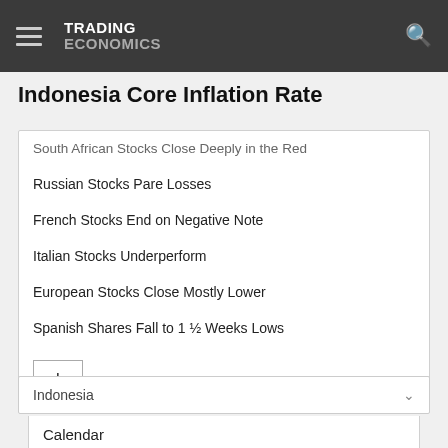TRADING ECONOMICS
Indonesia Core Inflation Rate
South African Stocks Close Deeply in the Red
Russian Stocks Pare Losses
French Stocks End on Negative Note
Italian Stocks Underperform
European Stocks Close Mostly Lower
Spanish Shares Fall to 1 ½ Weeks Lows
Indonesia
Calendar